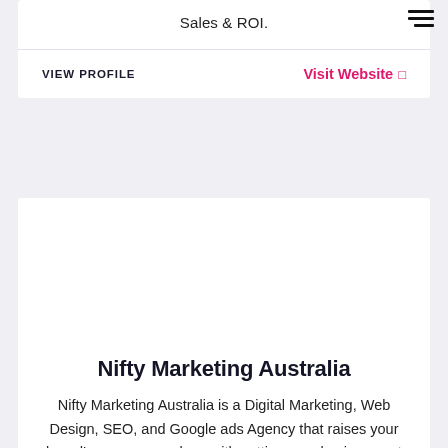Sales & ROI.
VIEW PROFILE
Visit Website
Nifty Marketing Australia
Nifty Marketing Australia is a Digital Marketing, Web Design, SEO, and Google ads Agency that raises your brand's awareness along with getting your business out on the web into the world.
VIEW PROFILE
Visit Website